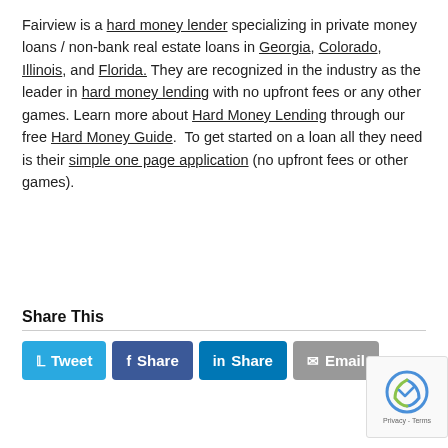Fairview is a hard money lender specializing in private money loans / non-bank real estate loans in Georgia, Colorado, Illinois, and Florida. They are recognized in the industry as the leader in hard money lending with no upfront fees or any other games. Learn more about Hard Money Lending through our free Hard Money Guide. To get started on a loan all they need is their simple one page application (no upfront fees or other games).
Share This
[Figure (other): Social share buttons: Tweet (Twitter/blue), Share (Facebook/dark blue), Share (LinkedIn/blue), Email (grey)]
[Figure (other): reCAPTCHA logo box with Privacy - Terms text]